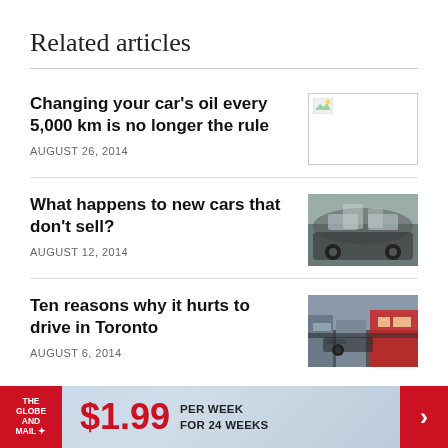Related articles
Changing your car's oil every 5,000 km is no longer the rule
AUGUST 26, 2014
What happens to new cars that don't sell?
AUGUST 12, 2014
Ten reasons why it hurts to drive in Toronto
AUGUST 6, 2014
[Figure (infographic): Footer banner advertisement for The Globe and Mail subscription: $1.99 per week for 24 weeks]